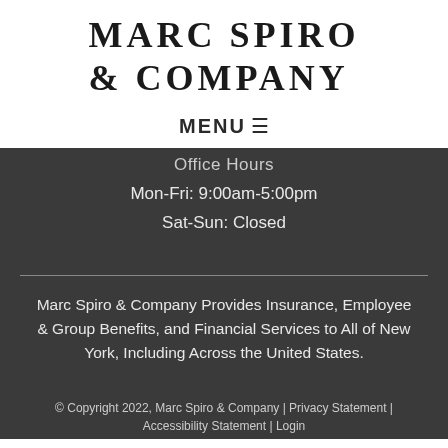MARC SPIRO & COMPANY
MENU ☰
Office Hours
Mon-Fri: 9:00am-5:00pm
Sat-Sun: Closed
Marc Spiro & Company Provides Insurance, Employee & Group Benefits, and Financial Services to All of New York, Including Across the United States.
© Copyright 2022, Marc Spiro & Company | Privacy Statement | Accessibility Statement | Login